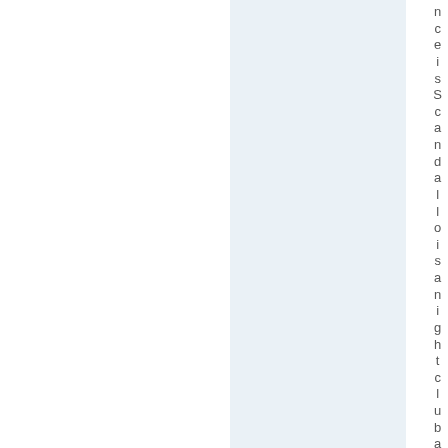nceisScandalloisan ightcluband th